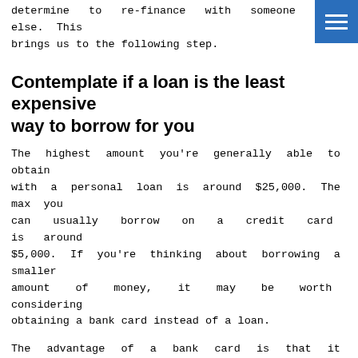determine to re-finance with someone else. This brings us to the following step.
Contemplate if a loan is the least expensive way to borrow for you
The highest amount you’re generally able to obtain with a personal loan is around $25,000. The max you can usually borrow on a credit card is around $5,000. If you’re thinking about borrowing a smaller amount of money, it may be worth considering obtaining a bank card instead of a loan.
The advantage of a bank card is that it offers you a little more adaptability than a loan- you can borrow cash as and when you want and you can pay it back as soon as you want. On the other hand, a loan will give you a set amount of cash, a fixed amount of interest to pay back and more than likely a settlement strategy that you’re sealed in to for a certain quantity of time.